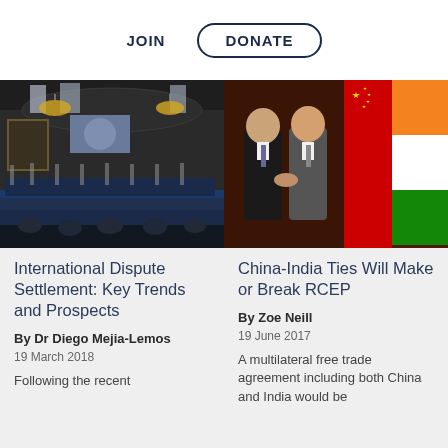JOIN   DONATE
[Figure (photo): Interior of an international court or tribunal with judges seated at a long bench in a grand hall with chandeliers and paintings]
[Figure (photo): Two men in suits shaking hands in front of Indian and Chinese flags]
International Dispute Settlement: Key Trends and Prospects
By Dr Diego Mejia-Lemos
19 March 2018
Following the recent
China-India Ties Will Make or Break RCEP
By Zoe Neill
19 June 2017
A multilateral free trade agreement including both China and India would be